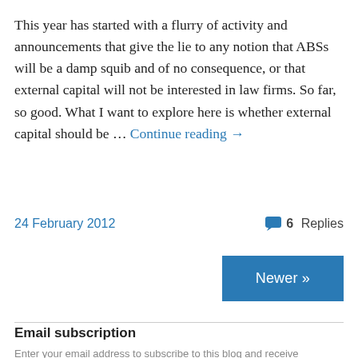This year has started with a flurry of activity and announcements that give the lie to any notion that ABSs will be a damp squib and of no consequence, or that external capital will not be interested in law firms. So far, so good. What I want to explore here is whether external capital should be … Continue reading →
24 February 2012
6 Replies
Newer »
Email subscription
Enter your email address to subscribe to this blog and receive notifications of new posts by email.